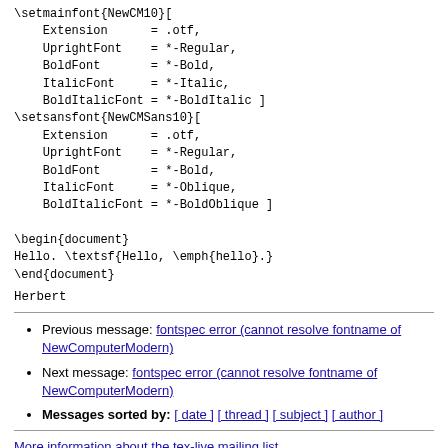\setupmainfont{fontspec}
\setmainfont{NewCM10}[
    Extension      = .otf,
    UprightFont    = *-Regular,
    BoldFont       = *-Bold,
    ItalicFont     = *-Italic,
    BoldItalicFont = *-BoldItalic ]
\setsansfont{NewCMSans10}[
    Extension      = .otf,
    UprightFont    = *-Regular,
    BoldFont       = *-Bold,
    ItalicFont     = *-Oblique,
    BoldItalicFont = *-BoldOblique ]

\begin{document}
Hello. \textsf{Hello, \emph{hello}.}
\end{document}
Herbert
Previous message: fontspec error (cannot resolve fontname of NewComputerModern)
Next message: fontspec error (cannot resolve fontname of NewComputerModern)
Messages sorted by: [ date ] [ thread ] [ subject ] [ author ]
More information about the tex-live mailing list.